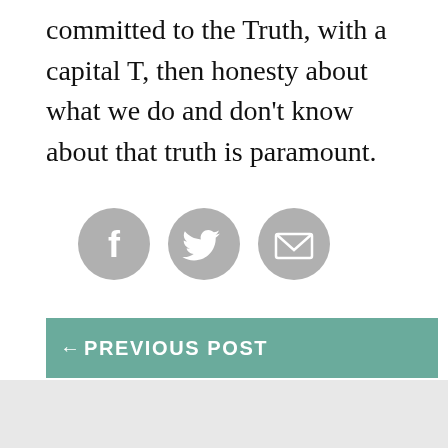committed to the Truth, with a capital T, then honesty about what we do and don't know about that truth is paramount.
[Figure (infographic): Three circular grey social sharing icons: Facebook, Twitter, and Email/envelope]
TAGGED WITH: UNCATEGORIZED
← PREVIOUS POST